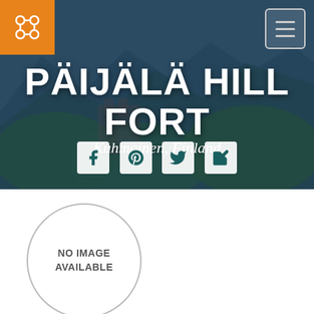[Figure (screenshot): Website hero banner showing 'Päijälä Hill Fort, Kuhmoinen, Finland' with an orange logo box in top-left, hamburger menu in top-right, large white title text, italic subtitle, and four social media icon boxes. Below the hero is a white section with a circular 'NO IMAGE AVAILABLE' placeholder.]
PÄIJÄLÄ HILL FORT
Kuhmoinen, Finland
[Figure (illustration): Circle with border containing text 'NO IMAGE AVAILABLE']